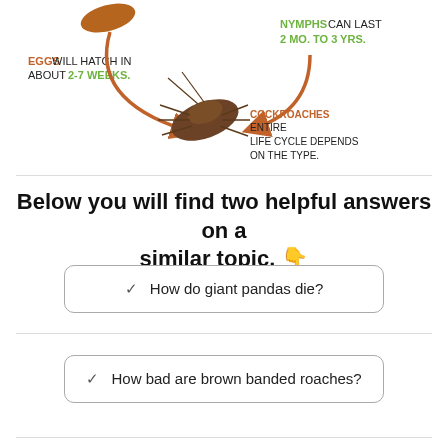[Figure (infographic): Cockroach life cycle infographic showing partial view: an egg/ootheca at top left with text 'EGGS WILL HATCH IN ABOUT 2-7 WEEKS.' (brown/orange text), a green text label 'NYMPHS CAN LAST 2 MO. TO 3 YRS.' at top center-right, orange curved arrows pointing toward a central cockroach image, and text 'COCKROACHES ENTIRE LIFE CYCLE DEPENDS ON THE TYPE.' with 'COCKROACHES' in orange.]
Below you will find two helpful answers on a similar topic. 👇
✓  How do giant pandas die?
✓  How bad are brown banded roaches?